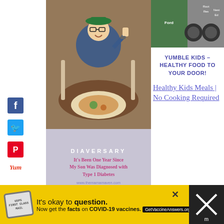[Figure (photo): Boy with glasses giving thumbs up at restaurant table with food]
[Figure (photo): Diaversary overlay — It's Been One Year Since My Son Was Diagnosed with Type 1 Diabetes, www.themamamaven.com]
[Figure (photo): Top right: food/product images with labels Ford, Root&Seed, NestEd]
YUMBLE KIDS – HEALTHY FOOD TO YOUR DOOR!
Healthy Kids Meals | No Cooking Required
[Figure (logo): Yumble teal circle logo with white text 'yumble']
0
SHARES
[Figure (infographic): Ad banner: It's okay to question. Now get the facts on COVID-19 vaccines. GetVaccineAnswers.org]